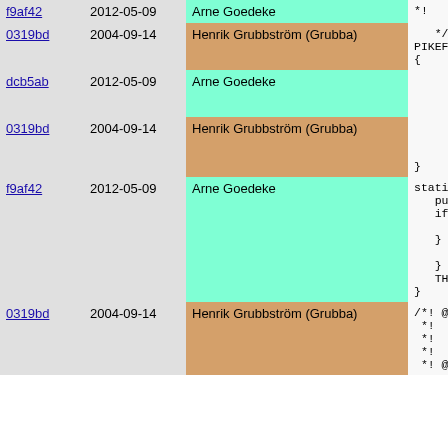| hash | date | author | code |
| --- | --- | --- | --- |
| f9af42 | 2012-05-09 | Arne Goedeke | *!   @[is |
| 0319bd | 2004-09-14 | Henrik Grubbström (Grubba) | */
PIKEFUN m:
{ |
| dcb5ab | 2012-05-09 | Arne Goedeke | struct p
if (THIS
  push_s |
| 0319bd | 2004-09-14 | Henrik Grubbström (Grubba) | } else +
  Pike_e
}
} |
| f9af42 | 2012-05-09 | Arne Goedeke | static in:
  push_sva
  if (node
    unlink
  } else +
    detach
  }
  THIS->nu
} |
| 0319bd | 2004-09-14 | Henrik Grubbström (Grubba) | /*! @decl
 *!
 *!   Pop
 *!
 *! @thro |